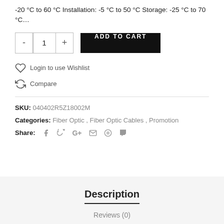-20 °C to 60 °C Installation: -5 °C to 50 °C Storage: -25 °C to 70 °C…
ADD TO CART
Login to use Wishlist
Compare
SKU: 040402R5Z18002M
Categories: Fiber Optic , Fiber Optic Cables , Promotion
Share:
Description
Reviews (0)